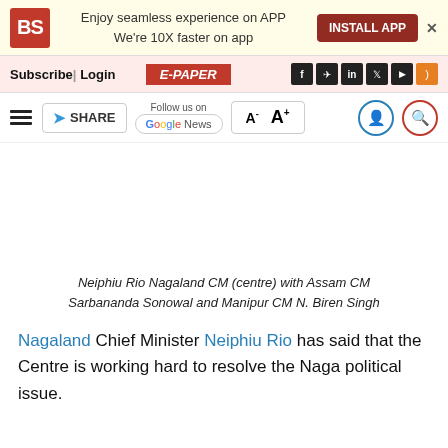BS | Enjoy seamless experience on APP We're 10X faster on app | INSTALL APP
Subscribe | Login | E-PAPER | f | telegram | in | twitter | youtube | rss
SHARE | Follow us on Google News | A- A+
Neiphiu Rio Nagaland CM (centre) with Assam CM Sarbananda Sonowal and Manipur CM N. Biren Singh
Nagaland Chief Minister Neiphiu Rio has said that the Centre is working hard to resolve the Naga political issue.